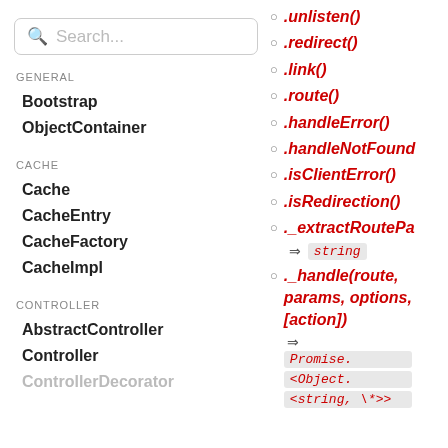Search...
GENERAL
Bootstrap
ObjectContainer
CACHE
Cache
CacheEntry
CacheFactory
CacheImpl
CONTROLLER
AbstractController
Controller
ControllerDecorator
.unlisten()
.redirect()
.link()
.route()
.handleError()
.handleNotFound()
.isClientError()
.isRedirection()
._extractRouteParams() ⇒ string
._handle(route, params, options, [action]) ⇒ Promise.<Object.<string, \*>>